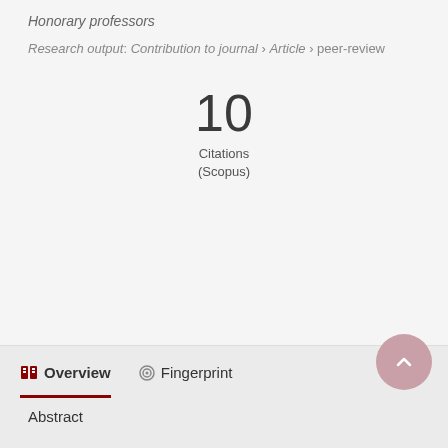Honorary professors
Research output: Contribution to journal › Article › peer-review
10 Citations (Scopus)
Overview
Fingerprint
Abstract